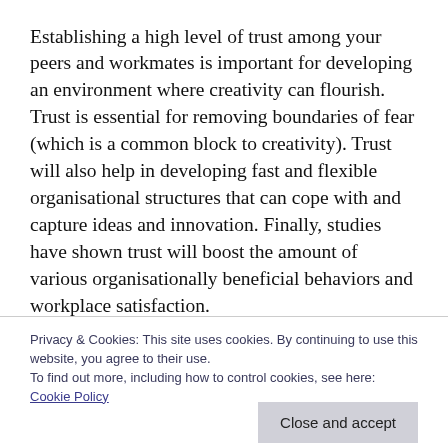Establishing a high level of trust among your peers and workmates is important for developing an environment where creativity can flourish. Trust is essential for removing boundaries of fear (which is a common block to creativity). Trust will also help in developing fast and flexible organisational structures that can cope with and capture ideas and innovation. Finally, studies have shown trust will boost the amount of various organisationally beneficial behaviors and workplace satisfaction.
Okay, have I convinced you? If so, here are six
Privacy & Cookies: This site uses cookies. By continuing to use this website, you agree to their use.
To find out more, including how to control cookies, see here:
Cookie Policy
Especially for organisations, I suggest taking the